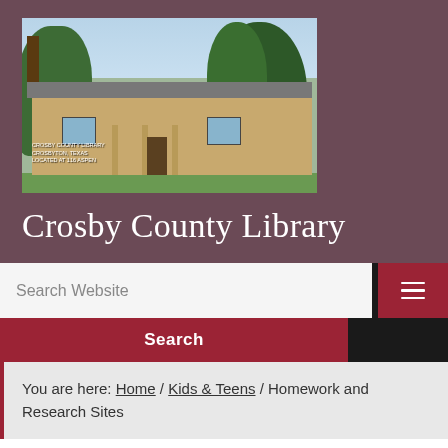[Figure (photo): Exterior photo of Crosby County Library building in Crosbyton, Texas. Single-story brick building with trees, captioned 'CROSBY COUNTY LIBRARY CROSBYTON, TEXAS LOCATED AT 116 ASPEN'.]
Crosby County Library
Search Website
Search
You are here: Home / Kids & Teens / Homework and Research Sites
Homework and Research Sites